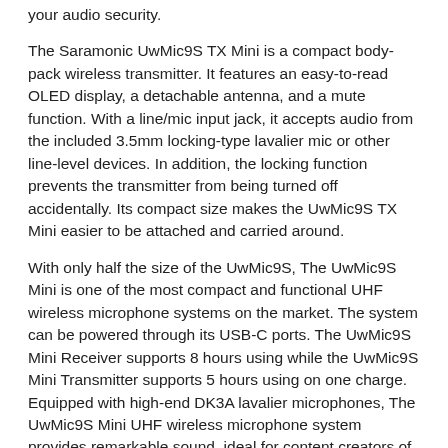your audio security.
The Saramonic UwMic9S TX Mini is a compact body-pack wireless transmitter. It features an easy-to-read OLED display, a detachable antenna, and a mute function. With a line/mic input jack, it accepts audio from the included 3.5mm locking-type lavalier mic or other line-level devices. In addition, the locking function prevents the transmitter from being turned off accidentally. Its compact size makes the UwMic9S TX Mini easier to be attached and carried around.
With only half the size of the UwMic9S, The UwMic9S Mini is one of the most compact and functional UHF wireless microphone systems on the market. The system can be powered through its USB-C ports. The UwMic9S Mini Receiver supports 8 hours using while the UwMic9S Mini Transmitter supports 5 hours using on one charge. Equipped with high-end DK3A lavalier microphones, The UwMic9S Mini UHF wireless microphone system provides remarkable sound, ideal for content creators of all kinds.
FEATURES:
Delivering professional broadcast-quality sound